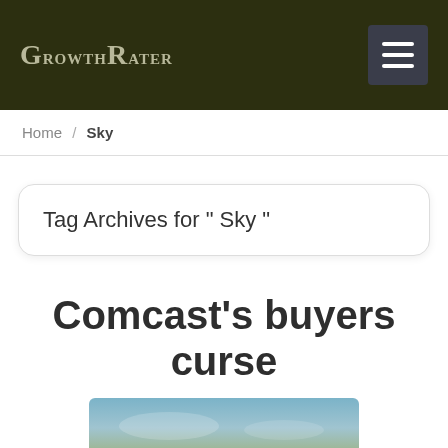GrowthRater
Home / Sky
Tag Archives for " Sky "
Comcast's buyers curse
[Figure (photo): Partial photo strip visible at bottom of page, appears to show an outdoor sky/nature scene]